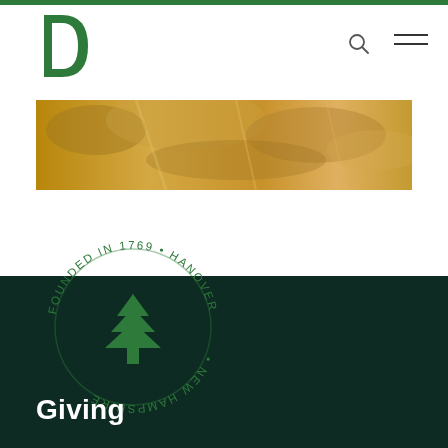Dartmouth College navigation header with logo
[Figure (photo): Horizontal banner photo showing golden/warm toned foliage or natural scene]
[Figure (logo): Dartmouth College circular seal with pine tree, text reading FOUNDED IN 1769 • HANOVER • NEW HAMPSHIRE]
Giving